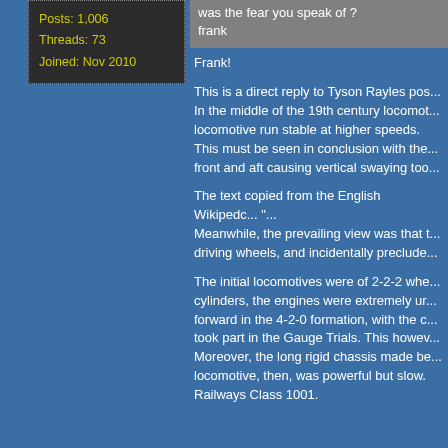Posts: 1,006
Threads: 73
Joined: Nov 2010
was the fear you speak of ?
frank
Frank!

This is a direct reply to Tyson Rayles pos... In the middle of the 19th century locomot... locomotive run stable at higher speeds. This must be seen in conclusion with the... front and aft causing vertical swaying too...

The text copied from the English Wikipedc... "...
Meanwhile, the prevailing view was that t... driving wheels, and incidentally preclude...

The initial locomotives were of 2-2-2 whe... cylinders, the engines were extremely ur... forward in the 4-2-0 formation, with the c... took part in the Gauge Trials. This howev... Moreover, the long rigid chassis made be... locomotive, then, was powerful but slow. Railways Class 1001.